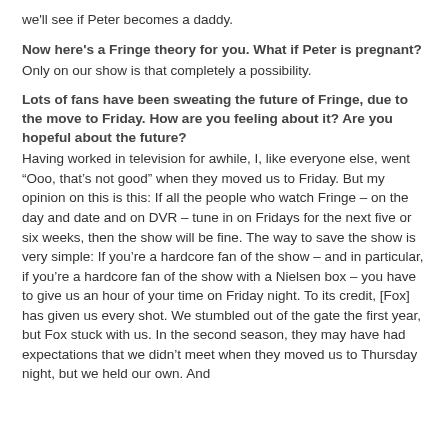we'll see if Peter becomes a daddy.
Now here's a Fringe theory for you. What if Peter is pregnant?
Only on our show is that completely a possibility.
Lots of fans have been sweating the future of Fringe, due to the move to Friday. How are you feeling about it? Are you hopeful about the future?
Having worked in television for awhile, I, like everyone else, went “Ooo, that’s not good” when they moved us to Friday. But my opinion on this is this: If all the people who watch Fringe – on the day and date and on DVR – tune in on Fridays for the next five or six weeks, then the show will be fine. The way to save the show is very simple: If you’re a hardcore fan of the show – and in particular, if you’re a hardcore fan of the show with a Nielsen box – you have to give us an hour of your time on Friday night. To its credit, [Fox] has given us every shot. We stumbled out of the gate the first year, but Fox stuck with us. In the second season, they may have had expectations that we didn’t meet when they moved us to Thursday night, but we held our own. And